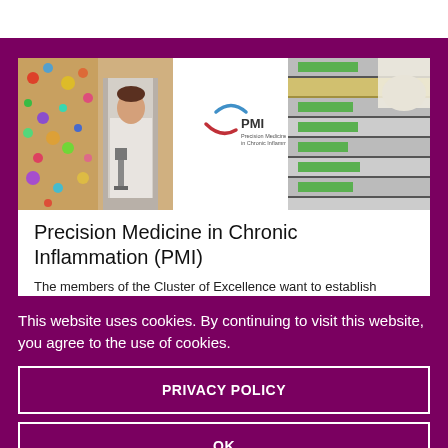[Figure (photo): Website screenshot showing a PMI (Precision Medicine in Chronic Inflammation) website banner with lab photos on left and right, and the PMI logo in the center]
Precision Medicine in Chronic Inflammation (PMI)
The members of the Cluster of Excellence want to establish precision
This website uses cookies. By continuing to visit this website, you agree to the use of cookies.
PRIVACY POLICY
OK